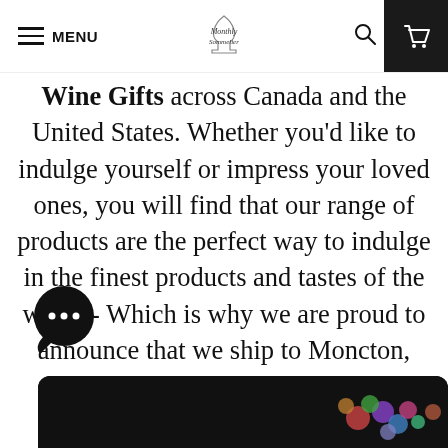MENU — Monthly Sommelier logo — search — cart
Wine Gifts across Canada and the United States. Whether you'd like to indulge yourself or impress your loved ones, you will find that our range of products are the perfect way to indulge in the finest products and tastes of the world - Which is why we are proud to announce that we ship to Moncton, New Brunswick
[Figure (illustration): Chat widget bubble with three dots at bottom left]
[Figure (photo): Dark image showing colorful fruits/grapes at bottom of page]